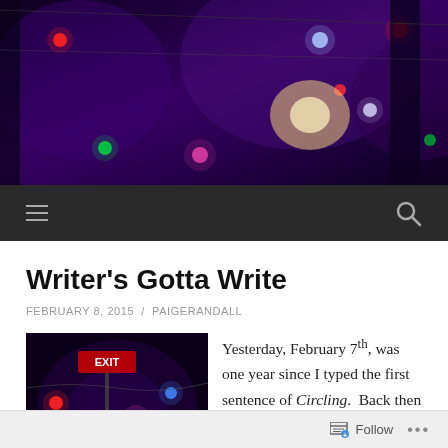[Figure (photo): Dark purple/blue toned photo of colorful string lights and an EXIT sign at night]
Navigation bar with hamburger menu and search icon
Writer's Gotta Write
FEBRUARY 8, 2015 / PAIGERANDALL
[Figure (photo): Dark photo showing colorful string lights (red, green, blue, pink) and an EXIT sign with purple/blue lighting]
Yesterday, February 7th, was one year since I typed the first sentence of Circling. Back then it was called, "The Keys,"
Follow ...